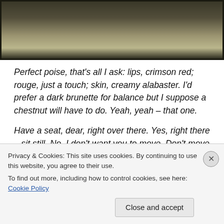[Figure (photo): Partial view of a photograph showing a dimly lit scene with dark tones, appears to be a vintage or sepia-toned image with a dark border.]
Perfect poise, that's all I ask: lips, crimson red; rouge, just a touch; skin, creamy alabaster. I'd prefer a dark brunette for balance but I suppose a chestnut will have to do. Yeah, yeah – that one.
Have a seat, dear, right over there. Yes, right there – sit still. No, I don't want you to move. Don't move, don't blink, don't fidget. Good. Now, shutter your eyes slightly… yes,
Privacy & Cookies: This site uses cookies. By continuing to use this website, you agree to their use.
To find out more, including how to control cookies, see here: Cookie Policy
Close and accept